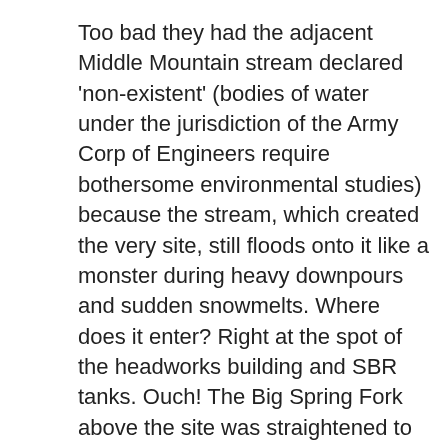Too bad they had the adjacent Middle Mountain stream declared 'non-existent' (bodies of water under the jurisdiction of the Army Corp of Engineers require bothersome environmental studies) because the stream, which created the very site, still floods onto it like a monster during heavy downpours and sudden snowmelts. Where does it enter? Right at the spot of the headworks building and SBR tanks. Ouch! The Big Spring Fork above the site was straightened to accommodate the highway, so the water gains a tremendous velocity as it approaches the site. Since the alluvial fan (the site) is in the direct path of the Big Spring Fork, it is forced to negotiate a sharp left hand turn to get around. Does it always manage this? No. In severe flooding, the river jumps its banks and flows over the (somewhat) higher part of the site right along